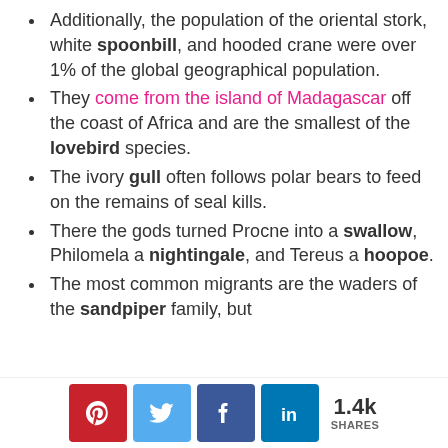Additionally, the population of the oriental stork, white spoonbill, and hooded crane were over 1% of the global geographical population.
They come from the island of Madagascar off the coast of Africa and are the smallest of the lovebird species.
The ivory gull often follows polar bears to feed on the remains of seal kills.
There the gods turned Procne into a swallow, Philomela a nightingale, and Tereus a hoopoe.
The most common migrants are the waders of the sandpiper family, but
[Figure (infographic): Social sharing bar with Pinterest, Twitter, Facebook, LinkedIn buttons and 1.4k shares count]